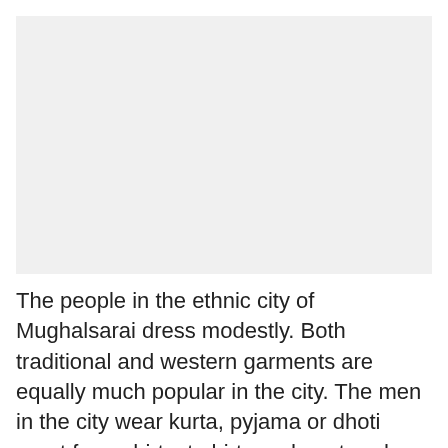[Figure (photo): A large light grey placeholder image area at the top of the page]
The people in the ethnic city of Mughalsarai dress modestly. Both traditional and western garments are equally much popular in the city. The men in the city wear kurta, pyjama or dhoti apart from shirts, t-shirts and pants, where as the women in the city wear sari and salwar apart from modern outfits. During the festive